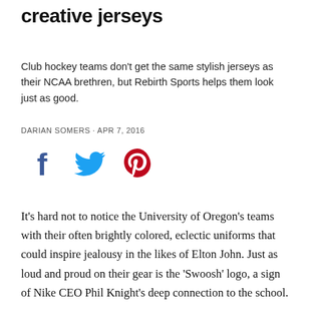creative jerseys
Club hockey teams don't get the same stylish jerseys as their NCAA brethren, but Rebirth Sports helps them look just as good.
DARIAN SOMERS · APR 7, 2016
[Figure (infographic): Social sharing icons: Facebook (blue), Twitter (blue bird), Pinterest (red P)]
It's hard not to notice the University of Oregon's teams with their often brightly colored, eclectic uniforms that could inspire jealousy in the likes of Elton John. Just as loud and proud on their gear is the 'Swoosh' logo, a sign of Nike CEO Phil Knight's deep connection to the school.